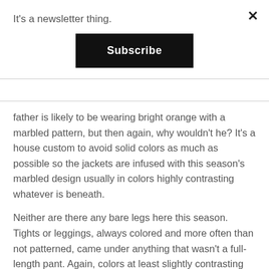It's a newsletter thing.
Subscribe
father is likely to be wearing bright orange with a marbled pattern, but then again, why wouldn't he? It's a house custom to avoid solid colors as much as possible so the jackets are infused with this season's marbled design usually in colors highly contrasting whatever is beneath.
Neither are there any bare legs here this season. Tights or leggings, always colored and more often than not patterned, came under anything that wasn't a full-length pant. Again, colors at least slightly contrasting the rest of the look were a necessity.  Heaven forbid we see a head-to-toe anything.
Variations on marble patterns, and there are a lot of them, kept the clothes looking interesting. Some looked a bit like the reflections